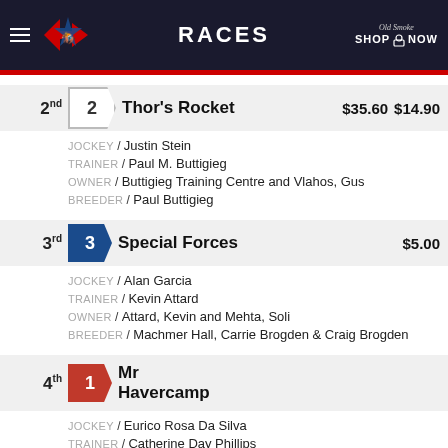RACES
2nd  2  Thor's Rocket  $35.60  $14.90
JOCKEY / Justin Stein
TRAINER / Paul M. Buttigieg
OWNER / Buttigieg Training Centre and Vlahos, Gus
BREEDER / Paul Buttigieg
3rd  3  Special Forces  $5.00
JOCKEY / Alan Garcia
TRAINER / Kevin Attard
OWNER / Attard, Kevin and Mehta, Soli
BREEDER / Machmer Hall, Carrie Brogden & Craig Brogden
4th  1  Mr Havercamp
JOCKEY / Eurico Rosa Da Silva
TRAINER / Catherine Day Phillips